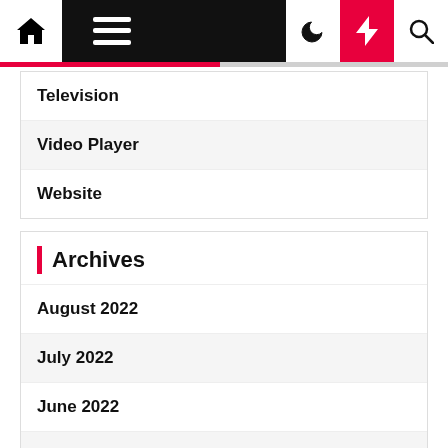Navigation bar with home, menu, moon, bolt, search icons
Television
Video Player
Website
Archives
August 2022
July 2022
June 2022
May 2022
April 2022